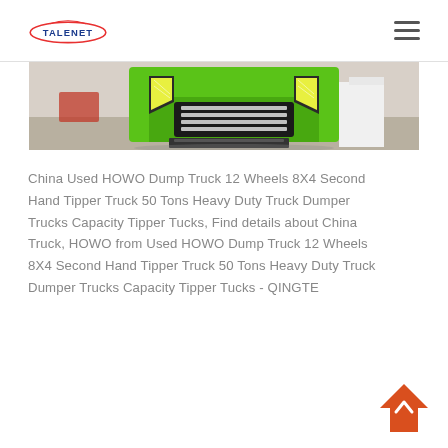TALENET
[Figure (photo): Front view of a bright green HOWO dump truck with chrome grille detail, photographed at a trade show or exhibition hall]
China Used HOWO Dump Truck 12 Wheels 8X4 Second Hand Tipper Truck 50 Tons Heavy Duty Truck Dumper Trucks Capacity Tipper Tucks, Find details about China Truck, HOWO from Used HOWO Dump Truck 12 Wheels 8X4 Second Hand Tipper Truck 50 Tons Heavy Duty Truck Dumper Trucks Capacity Tipper Tucks - QINGTE